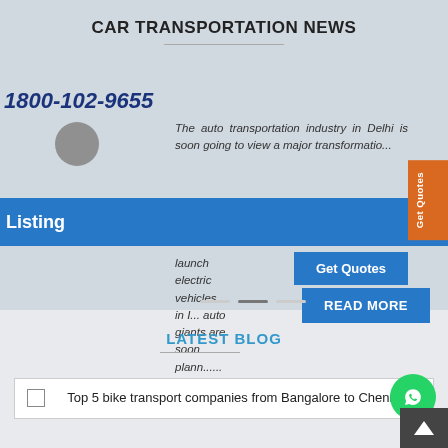CAR TRANSPORTATION NEWS
1800-102-9655
The auto transportation industry in Delhi is soon going to view a major transformation... launch electric vehicles in I... auto giants are soon plann......
Listing
Get Quotes
READ MORE
LATEST BLOG
Top 5 bike transport companies from Bangalore to Chennai